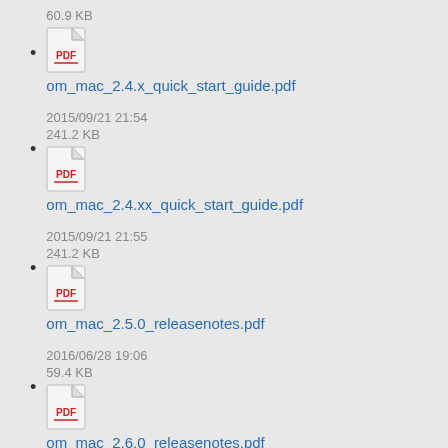60.9 KB
om_mac_2.4.x_quick_start_guide.pdf
2015/09/21 21:54
241.2 KB
om_mac_2.4.xx_quick_start_guide.pdf
2015/09/21 21:55
241.2 KB
om_mac_2.5.0_releasenotes.pdf
2016/06/28 19:06
59.4 KB
om_mac_2.6.0_releasenotes.pdf